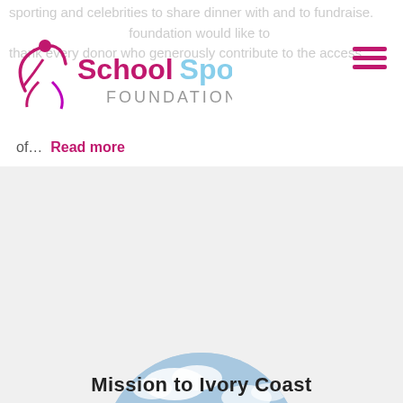sporting and celebrities to share dinner with and to fundraise...
[Figure (logo): School Sport Foundation logo with stylized figure icon, purple and blue gradient text]
foundation would like to thank every donor who generously contribute to the access of...
of...  Read more
[Figure (photo): Circular cropped photo of school buildings with blue doors in a coastal/riverside setting, sandy ground, palm tree, blue sky]
Mission to Ivory Coast